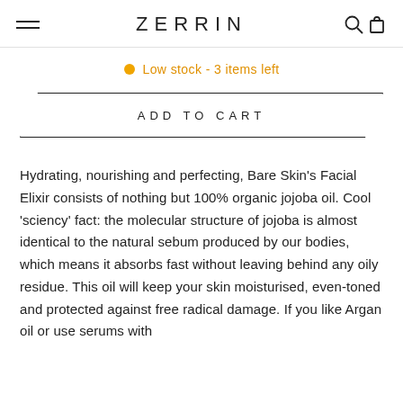ZERRIN
Low stock - 3 items left
ADD TO CART
Hydrating, nourishing and perfecting, Bare Skin's Facial Elixir consists of nothing but 100% organic jojoba oil. Cool 'sciency' fact: the molecular structure of jojoba is almost identical to the natural sebum produced by our bodies, which means it absorbs fast without leaving behind any oily residue. This oil will keep your skin moisturised, even-toned and protected against free radical damage. If you like Argan oil or use serums with